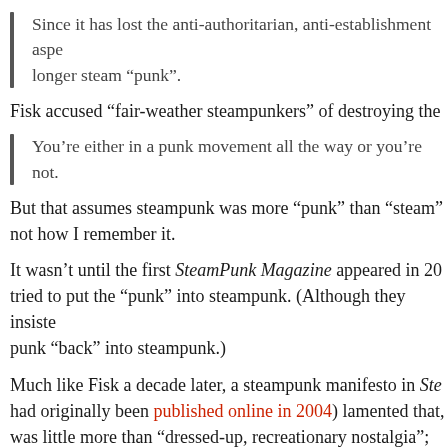Since it has lost the anti-authoritarian, anti-establishment aspe longer steam “punk”.
Fisk accused “fair-weather steampunkers” of destroying the
You’re either in a punk movement all the way or you’re not.
But that assumes steampunk was more “punk” than “steam” not how I remember it.
It wasn’t until the first SteamPunk Magazine appeared in 20 tried to put the “punk” into steampunk. (Although they insiste punk “back” into steampunk.)
Much like Fisk a decade later, a steampunk manifesto in Ste had originally been published online in 2004) lamented that, was little more than “dressed-up, recreationary nostalgia”; “s [that] is more appropriate for Disney and suburban grandpa